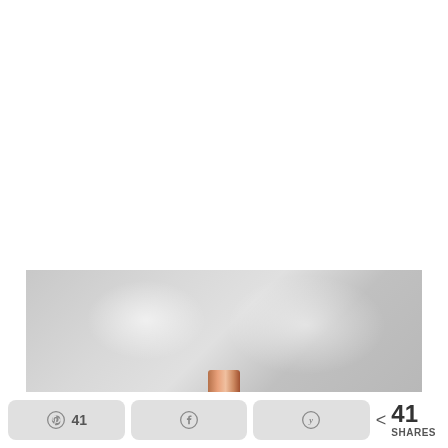[Figure (photo): Partial photo of a marble or stone surface with a copper/rose-gold metallic cap or object visible at the bottom center. The background is light grey and blurred.]
41  [Pinterest share button]  [Facebook share button]  [Yummly share button]  < 41 SHARES